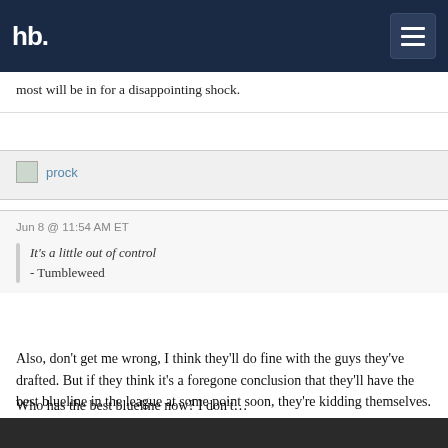hb
most will be in for a disappointing shock.
prock
Jun 8 @ 11:54 AM ET
It's a little out of control
- Tumbleweed
Also, don't get me wrong, I think they'll do fine with the guys they've drafted. But if they think it's a foregone conclusion that they'll have the best blueline in the league at some point soon, they're kidding themselves.
Who has the best blueline now? I don't...